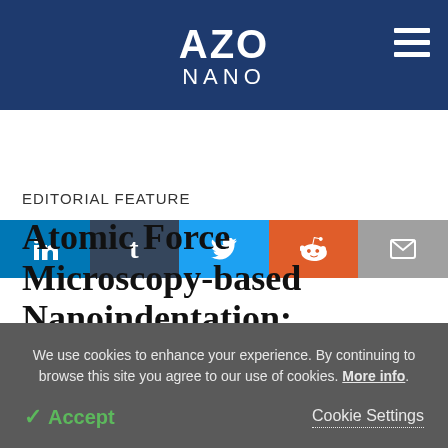AZO NANO
[Figure (logo): AZO NANO logo — white bold text on dark navy blue header bar]
[Figure (infographic): Social sharing bar with LinkedIn, Tumblr, Twitter, Reddit, and Email buttons]
EDITORIAL FEATURE
Atomic Force Microscopy-based Nanoindentation:
We use cookies to enhance your experience. By continuing to browse this site you agree to our use of cookies. More info.
Accept   Cookie Settings